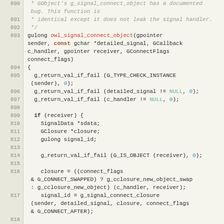[Figure (screenshot): Source code listing showing lines 800-824 of a C file implementing owl_signal_connect_object function, with syntax highlighting. Line numbers in left gutter, code on right with colored keywords and identifiers.]